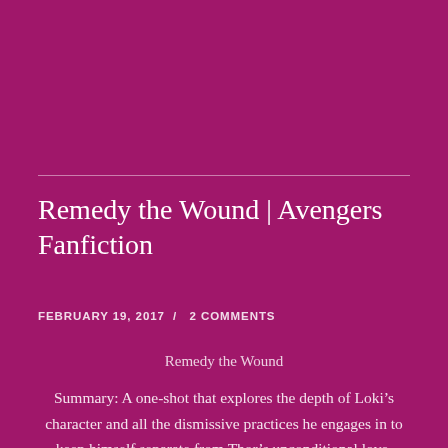Remedy the Wound | Avengers Fanfiction
FEBRUARY 19, 2017 / 2 COMMENTS
Remedy the Wound
Summary: A one-shot that explores the depth of Loki’s character and all the dismissive practices he engages in to keep himself separate from Thor’s unconditional love. These are the lies Loki tells himself and still, the two share a moment together